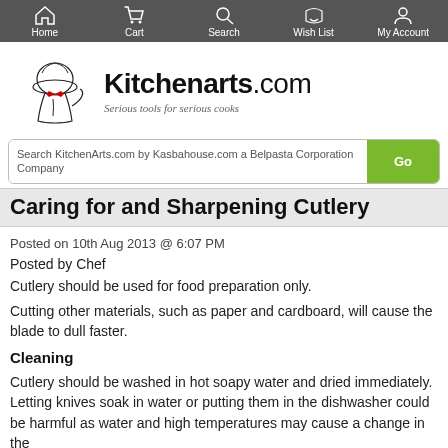Home | Cart | Search | Wish List | My Account
[Figure (logo): KitchenArts.com logo with chef illustration and tagline 'Serious tools for serious cooks']
Search KitchenArts.com by Kasbahouse.com a Belpasta Corporation Company
Caring for and Sharpening Cutlery
Posted on 10th Aug 2013 @ 6:07 PM
Posted by Chef
Cutlery should be used for food preparation only.
Cutting other materials, such as paper and cardboard, will cause the blade to dull faster.
Cleaning
Cutlery should be washed in hot soapy water and dried immediately. Letting knives soak in water or putting them in the dishwasher could be harmful as water and high temperatures may cause a change in the